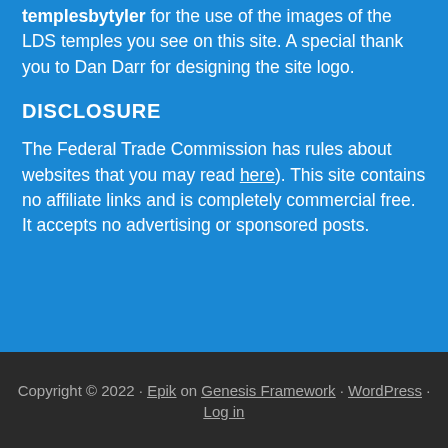templesbytyler for the use of the images of the LDS temples you see on this site. A special thank you to Dan Darr for designing the site logo.
DISCLOSURE
The Federal Trade Commission has rules about websites that you may read here). This site contains no affiliate links and is completely commercial free. It accepts no advertising or sponsored posts.
Copyright © 2022 · Epik on Genesis Framework · WordPress · Log in